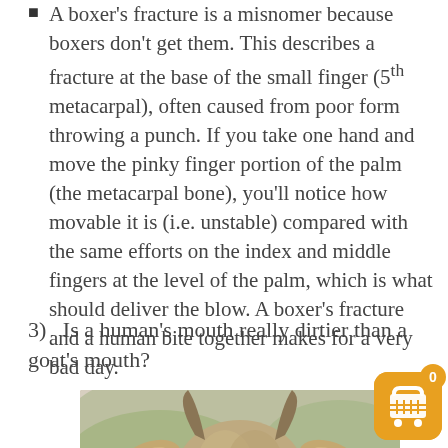A boxer's fracture is a misnomer because boxers don't get them. This describes a fracture at the base of the small finger (5th metacarpal), often caused from poor form throwing a punch. If you take one hand and move the pinky finger portion of the palm (the metacarpal bone), you'll notice how movable it is (i.e. unstable) compared with the same efforts on the index and middle fingers at the level of the palm, which is what should deliver the blow. A boxer's fracture and a human bite together makes for a very bad day.
3)   Is a human's mouth really dirtier than a goat's mouth?
[Figure (photo): Close-up photo of a goat's head showing its ears and horns from above, with a blurred background.]